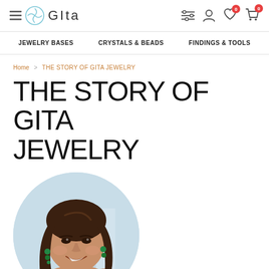GITA — navigation header with hamburger menu, logo, filter, account, wishlist, and cart icons
JEWELRY BASES   CRYSTALS & BEADS   FINDINGS & TOOLS
Home > THE STORY OF GITA JEWELRY
THE STORY OF GITA JEWELRY
[Figure (photo): Circular cropped portrait photo of a smiling young woman with long brown hair wearing green earrings, outdoors with a light blue sky background]